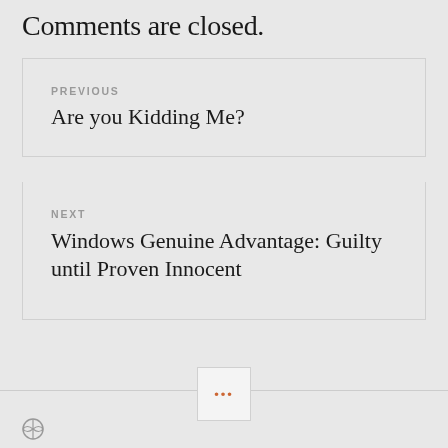Comments are closed.
PREVIOUS
Are you Kidding Me?
NEXT
Windows Genuine Advantage: Guilty until Proven Innocent
...
[Figure (logo): WordPress logo icon at bottom left]